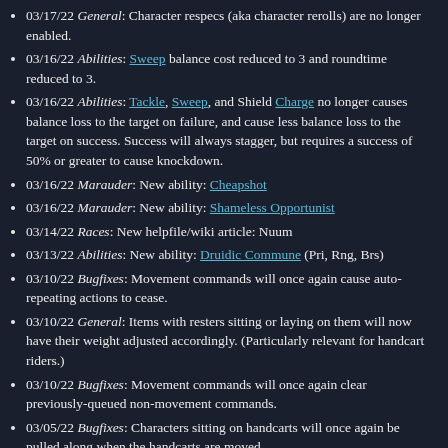03/17/22 General: Character respecs (aka character rerolls) are no longer enabled.
03/16/22 Abilities: Sweep balance cost reduced to 3 and roundtime reduced to 3.
03/16/22 Abilities: Tackle, Sweep, and Shield Charge no longer causes balance loss to the target on failure, and cause less balance loss to the target on success. Success will always stagger, but requires a success of 50% or greater to cause knockdown.
03/16/22 Marauder: New ability: Cheapshot
03/16/22 Marauder: New ability: Shameless Opportunist
03/14/22 Races: New helpfile/wiki article: Nuum
03/13/22 Abilities: New ability: Druidic Commune (Pri, Rng, Brs)
03/10/22 Bugfixes: Movement commands will once again cause auto-repeating actions to cease.
03/10/22 General: Items with resters sitting or laying on them will now have their weight adjusted accordingly. (Particularly relevant for handcart riders.)
03/10/22 Bugfixes: Movement commands will once again clear previously-queued non-movement commands.
03/05/22 Bugfixes: Characters sitting on handcarts will once again be pulled along when the handcarts are moved.
03/05/22 Bugfixes: The access list command actually works again.